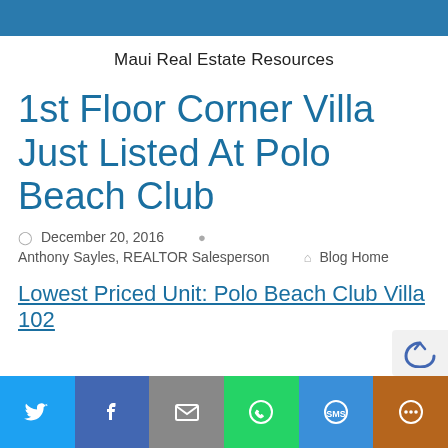Maui Real Estate Resources
1st Floor Corner Villa Just Listed At Polo Beach Club
December 20, 2016   Anthony Sayles, REALTOR Salesperson   Blog Home
Lowest Priced Unit: Polo Beach Club Villa 102
[Figure (other): Social share bar with Twitter, Facebook, Email, WhatsApp, SMS, and More buttons]